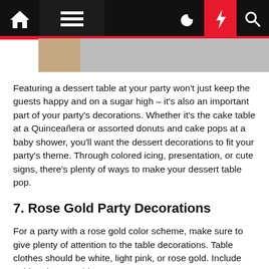Navigation bar with home, menu, moon, lightning, search icons
[Figure (photo): Partial image strip showing a dessert/food photo]
Featuring a dessert table at your party won't just keep the guests happy and on a sugar high – it's also an important part of your party's decorations. Whether it's the cake table at a Quinceañera or assorted donuts and cake pops at a baby shower, you'll want the dessert decorations to fit your party's theme. Through colored icing, presentation, or cute signs, there's plenty of ways to make your dessert table pop.
7. Rose Gold Party Decorations
For a party with a rose gold color scheme, make sure to give plenty of attention to the table decorations. Table clothes should be white, light pink, or rose gold. Include gold and rose gold